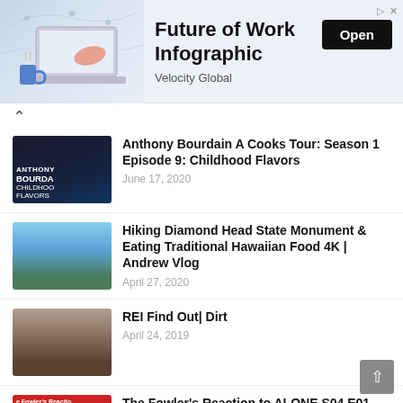[Figure (infographic): Ad banner for 'Future of Work Infographic' by Velocity Global with laptop illustration on map background and Open button]
Anthony Bourdain A Cooks Tour: Season 1 Episode 9: Childhood Flavors
June 17, 2020
Hiking Diamond Head State Monument & Eating Traditional Hawaiian Food 4K | Andrew Vlog
April 27, 2020
REI Find Out| Dirt
April 24, 2019
The Fowler's Reaction to ALONE S04 E01 (History Alone Season 4 Episode 1)